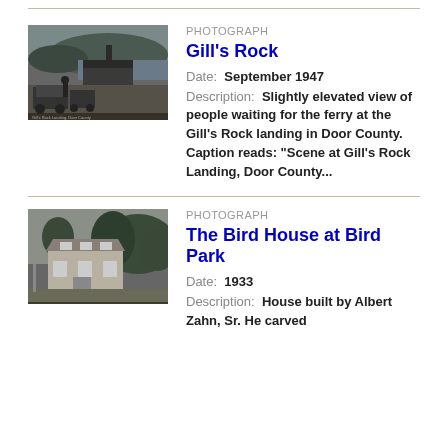[Figure (photo): Black and white photograph of people and vehicles waiting at Gill's Rock ferry landing, slightly elevated view, Door County]
PHOTOGRAPH
Gill's Rock
Date: September 1947
Description: Slightly elevated view of people waiting for the ferry at the Gill's Rock landing in Door County. Caption reads: "Scene at Gill's Rock Landing, Door County...
[Figure (photo): Black and white photograph of The Bird House at Bird Park, a two-story house with trees in the background]
PHOTOGRAPH
The Bird House at Bird Park
Date: 1933
Description: House built by Albert Zahn, Sr. He carved